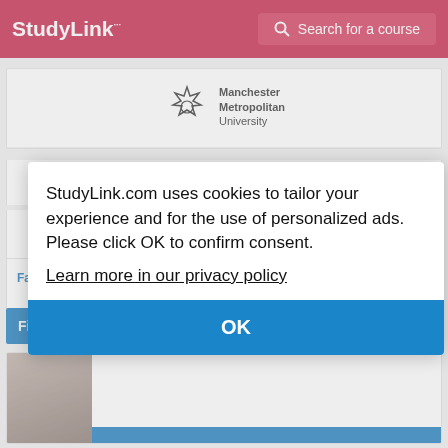StudyLink | Search for a course
[Figure (logo): Manchester Metropolitan University logo with flower/star crest and text]
Product Design
BA (Hons)
Faculty ... Manchester Metropolitan ...
Find ...
[Figure (photo): Partial photo of smiling people at bottom of page]
StudyLink.com uses cookies to tailor your experience and for the use of personalized ads. Please click OK to confirm consent.
Learn more in our privacy policy
OK